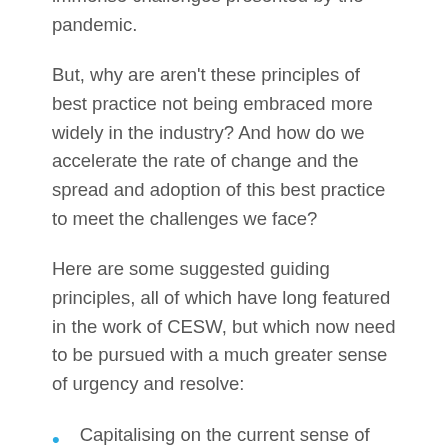immense challenges presented by the pandemic.
But, why are aren't these principles of best practice not being embraced more widely in the industry? And how do we accelerate the rate of change and the spread and adoption of this best practice to meet the challenges we face?
Here are some suggested guiding principles, all of which have long featured in the work of CESW, but which now need to be pursued with a much greater sense of urgency and resolve:
Capitalising on the current sense of urgency to address the safety and sustainability of our products (past, current and future) and processes. To borrow a phrase, “never waste a good crisis.”